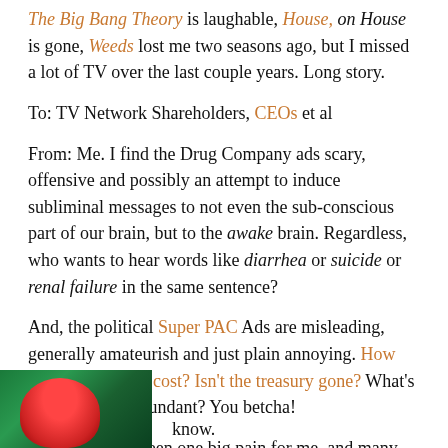The Big Bang Theory is laughable, House, on House is gone, Weeds lost me two seasons ago, but I missed a lot of TV over the last couple years. Long story.
To: TV Network Shareholders, CEOs et al
From: Me. I find the Drug Company ads scary, offensive and possibly an attempt to induce subliminal messages to not even the sub-conscious part of our brain, but to the awake brain. Regardless, who wants to hear words like diarrhea or suicide or renal failure in the same sentence?
And, the political Super PAC Ads are misleading, generally amateurish and just plain annoying. How much did that ad cost? Isn't the treasury gone? What's left to grab? Redundant? You betcha!
Lately, life has been one big pain for me, and many others I know.
[Figure (photo): Partial image at bottom left showing a colorful photo, green background with a red figure/shape visible]